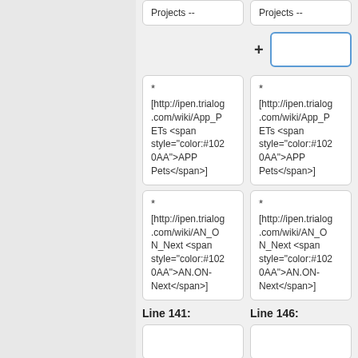Projects --
Projects --
[http://ipen.trialog.com/wiki/App_PETs <span style="color:#1020AA">APP Pets</span>]
[http://ipen.trialog.com/wiki/App_PETs <span style="color:#1020AA">APP Pets</span>]
[http://ipen.trialog.com/wiki/AN_ON_Next <span style="color:#1020AA">AN.ON-Next</span>]
[http://ipen.trialog.com/wiki/AN_ON_Next <span style="color:#1020AA">AN.ON-Next</span>]
Line 141:
Line 146: